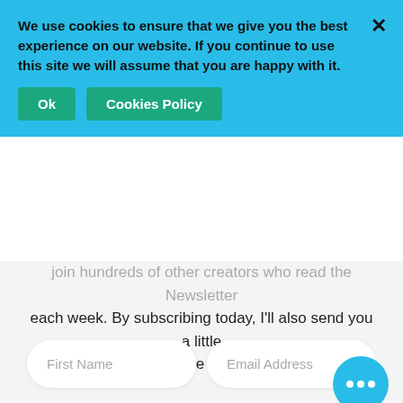We use cookies to ensure that we give you the best experience on our website. If you continue to use this site we will assume that you are happy with it.
Ok
Cookies Policy
join hundreds of other creators who read the Newsletter each week. By subscribing today, I'll also send you a little surprise inside!
First Name
Email Address
Subscribe
CATEGORIES
Audience